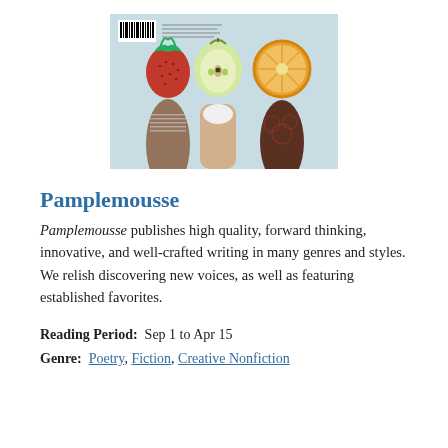[Figure (illustration): Magazine cover showing three female figures with fruit for heads: a strawberry, a halved green apple, and a cross-section of an orange. A barcode is visible in the upper left corner of the cover. The background is light blue-grey.]
Pamplemousse
Pamplemousse publishes high quality, forward thinking, innovative, and well-crafted writing in many genres and styles. We relish discovering new voices, as well as featuring established favorites.
Reading Period:  Sep 1 to Apr 15
Genre:  Poetry, Fiction, Creative Nonfiction